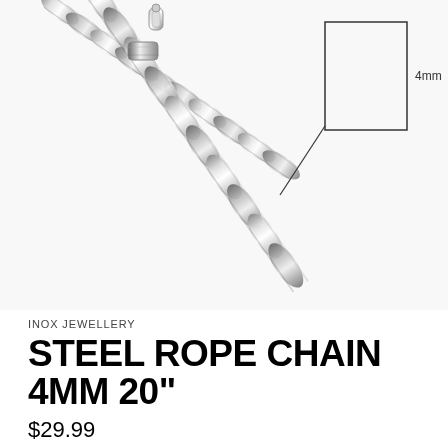[Figure (photo): Close-up photo of a stainless steel rope chain necklace with a lobster clasp and cylindrical connector, shown twisted diagonally on a white background. A rectangular dimension callout box encloses a section of the chain with a '4mm' label indicating the chain width.]
INOX JEWELLERY
STEEL ROPE CHAIN 4MM 20"
$29.99
NSTC0304-20